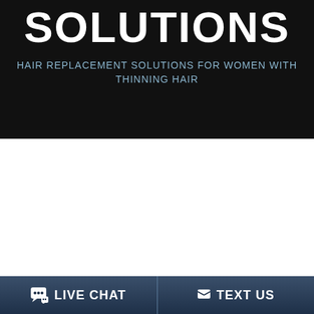SOLUTIONS
HAIR REPLACEMENT SOLUTIONS FOR WOMEN WITH THINNING HAIR
LIVE CHAT   TEXT US